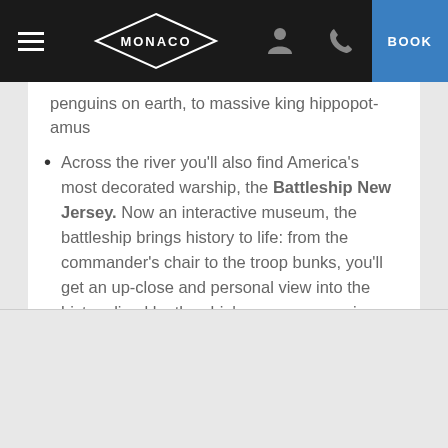MONACO | BOOK
penguins on earth, to massive king hippopotamus
Across the river you'll also find America's most decorated warship, the Battleship New Jersey. Now an interactive museum, the battleship brings history to life: from the commander's chair to the troop bunks, you'll get an up-close and personal view into the history lived by the ship's crews—spanning an impressive total of four wars, from World War II up to the Gulf War.